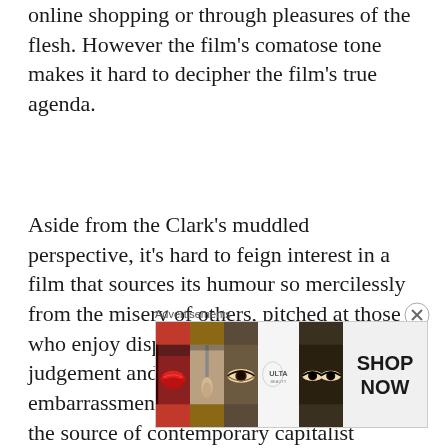online shopping or through pleasures of the flesh. However the film's comatose tone makes it hard to decipher the film's true agenda.
Aside from the Clark's muddled perspective, it's hard to feign interest in a film that sources its humour so mercilessly from the misery of others, pitched at those who enjoy dispensing smug self-righteous judgement and basking in the embarrassment of others less conversant in the source of contemporary capitalist melancholy. Equally, watching Suzanne – the personification of white middleclass privilege – attempt to find
Advertisements
[Figure (photo): Advertisement banner for ULTA beauty showing close-up images of lips with red lipstick, a makeup brush, an eye with dramatic makeup, ULTA beauty logo, another eye with dark eye makeup, and a SHOP NOW button]